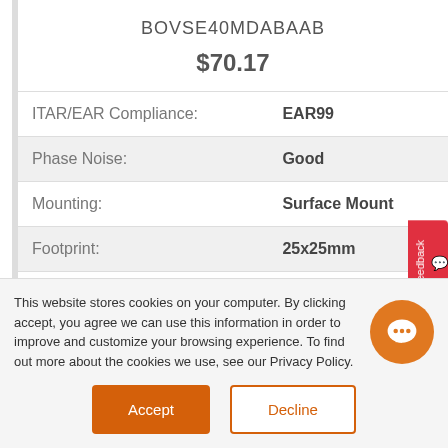BOVSE40MDABAAB
$70.17
| Property | Value |
| --- | --- |
| ITAR/EAR Compliance: | EAR99 |
| Phase Noise: | Good |
| Mounting: | Surface Mount |
| Footprint: | 25x25mm |
| Center Frequency: | 40MHz |
| Voltage: | 3.3V |
This website stores cookies on your computer. By clicking accept, you agree we can use this information in order to improve and customize your browsing experience. To find out more about the cookies we use, see our Privacy Policy.
Accept
Decline